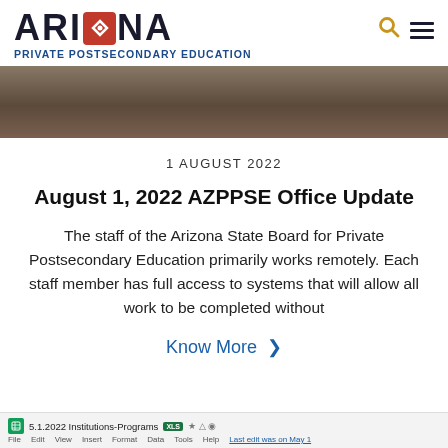ARIZONA PRIVATE POSTSECONDARY EDUCATION
[Figure (photo): Hero image showing office chairs and furniture in a room, partially cropped at top]
1 AUGUST 2022
August 1, 2022 AZPPSE Office Update
The staff of the Arizona State Board for Private Postsecondary Education primarily works remotely. Each staff member has full access to systems that will allow all work to be completed without
Know More >
5.1.2022 Institutions-Programs XLS
File Edit View Insert Format Data Tools Help Last edit was on May 1